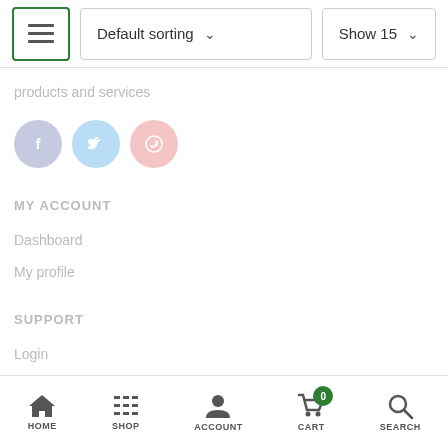[Figure (screenshot): Top toolbar with grid/list toggle button (green border), Default sorting dropdown, and Show 15 dropdown]
products and services
[Figure (infographic): Three social media icon circles: Facebook (blue-grey), Twitter (light blue), WhatsApp (pink)]
MY ACCOUNT
Dashboard
My profile
SUPPORT
Login
Register
HOME  SHOP  ACCOUNT  CART  SEARCH